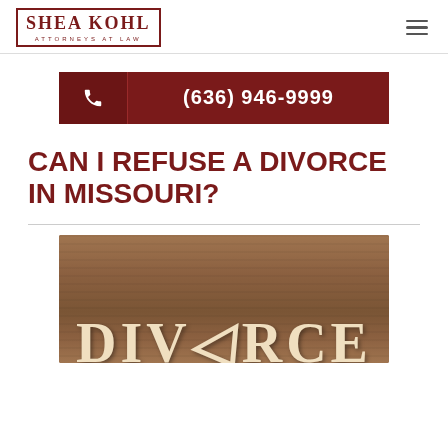Shea Kohl Attorneys at Law
(636) 946-9999
CAN I REFUSE A DIVORCE IN MISSOURI?
[Figure (photo): Wooden surface with cream-colored letter tiles spelling DIVORCE, partially visible]